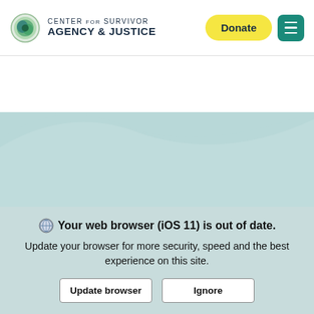CENTER FOR SURVIVOR AGENCY & JUSTICE
[Figure (illustration): Website screenshot showing Center for Survivor Agency & Justice header with logo, Donate button, and menu icon. Below is a light teal wave background with partially visible italic bold heading 'In their own words'. A browser update warning overlay appears at the bottom.]
Your web browser (iOS 11) is out of date. Update your browser for more security, speed and the best experience on this site.
Update browser    Ignore